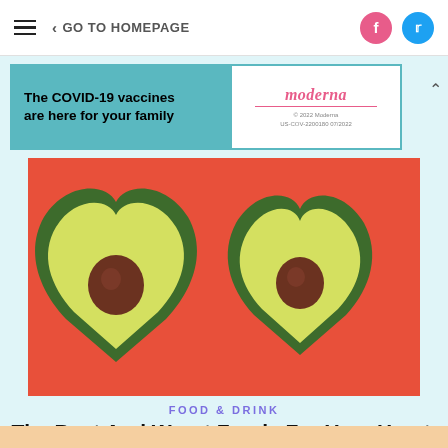GO TO HOMEPAGE
[Figure (infographic): Advertisement banner: 'The COVID-19 vaccines are here for your family' with Moderna logo and fine print '© 2022 Moderna US-COV-2200180 07/2022']
[Figure (photo): Photo of two heart-shaped avocado halves (with pits) on a red/coral background, arranged side by side]
FOOD & DRINK
The Best And Worst Foods For Your Heart, According To Doctors